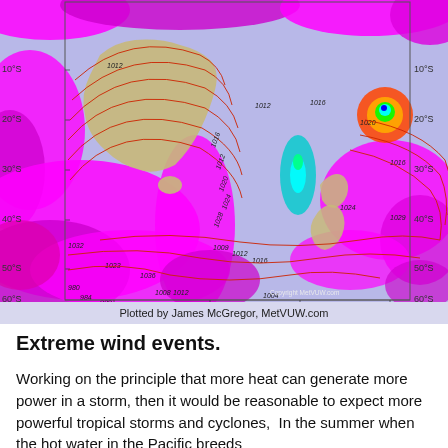[Figure (map): Weather map of the South Pacific and Australasian region showing pressure isobars (red contour lines labeled in hPa: 960, 984, 988, 992, 996, 1000, 1004, 1008, 1012, 1016, 1020, 1024, 1028, 1029, 1032, 1036, 1038) overlaid on a wind/precipitation intensity color field (magenta/pink for high intensity, blue-green for storm centers). Latitude labels on left and right: 10°S, 20°S, 30°S, 40°S, 50°S, 60°S. Longitude labels on bottom: 120°E, 150°E, 180°, 150°W. Copyright MetVUW.com shown in lower right.]
Plotted by James McGregor, MetVUW.com
Extreme wind events.
Working on the principle that more heat can generate more power in a storm, then it would be reasonable to expect more powerful tropical storms and cyclones,  In the summer when the hot water in the Pacific breeds